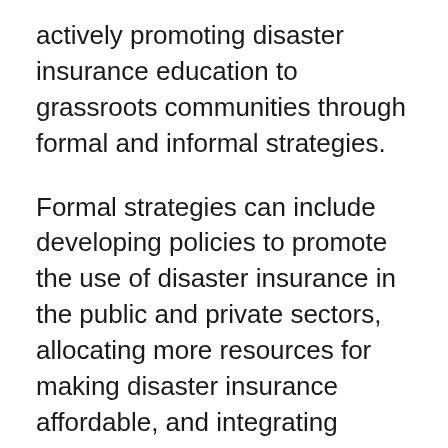actively promoting disaster insurance education to grassroots communities through formal and informal strategies.
Formal strategies can include developing policies to promote the use of disaster insurance in the public and private sectors, allocating more resources for making disaster insurance affordable, and integrating disaster insurance education in basic education.
Informal strategies can include role models and testimony from local or community leaders, champions, and celebrities, and promotion of disaster insurance education via